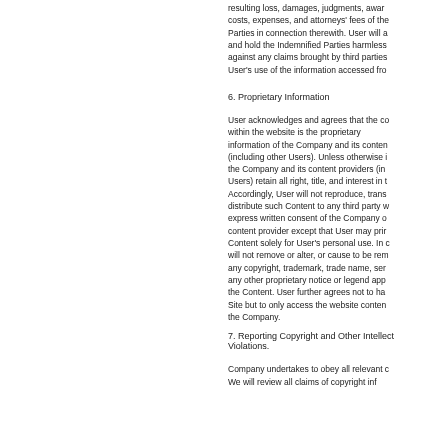resulting loss, damages, judgments, awards, costs, expenses, and attorneys' fees of the Parties in connection therewith. User will a and hold the Indemnified Parties harmless against any claims brought by third parties User's use of the information accessed fro
6. Proprietary Information
User acknowledges and agrees that the co within the website is the proprietary information of the Company and its conten (including other Users). Unless otherwise the Company and its content providers (in Users) retain all right, title, and interest in t Accordingly, User will not reproduce, trans distribute such Content to any third party w express written consent of the Company o content provider except that User may pri Content solely for User's personal use. In will not remove or alter, or cause to be rem any copyright, trademark, trade name, ser any other proprietary notice or legend app the Content. User further agrees not to ha Site but to only access the website conten the Company.
7. Reporting Copyright and Other Intellect Violations.
Company undertakes to obey all relevant c We will review all claims of copyright inf